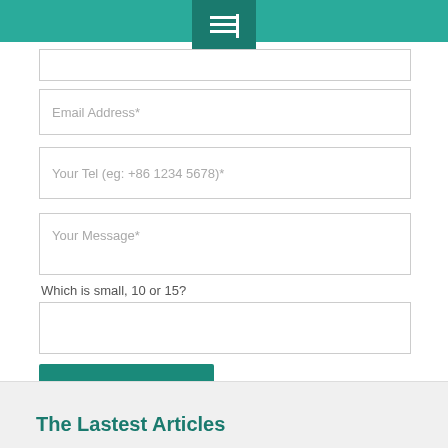[Figure (other): Menu/list icon in white on dark teal background square]
Email Address*
Your Tel (eg: +86 1234 5678)*
Your Message*
Which is small, 10 or 15?
Send Message
The Lastest Articles